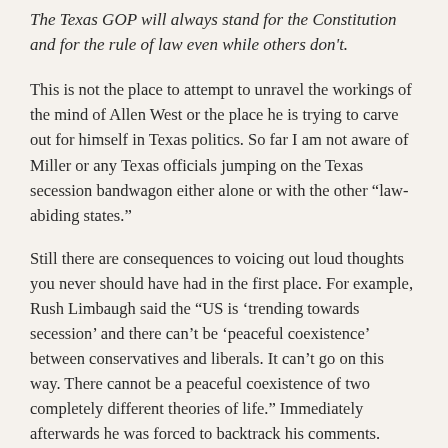The Texas GOP will always stand for the Constitution and for the rule of law even while others don't.
This is not the place to attempt to unravel the workings of the mind of Allen West or the place he is trying to carve out for himself in Texas politics. So far I am not aware of Miller or any Texas officials jumping on the Texas secession bandwagon either alone or with the other “law-abiding states.”
Still there are consequences to voicing out loud thoughts you never should have had in the first place. For example, Rush Limbaugh said the “US is ‘trending towards secession’ and there can’t be ‘peaceful coexistence’ between conservatives and liberals. It can’t go on this way. There cannot be a peaceful coexistence of two completely different theories of life.” Immediately afterwards he was forced to backtrack his comments. Limbaugh